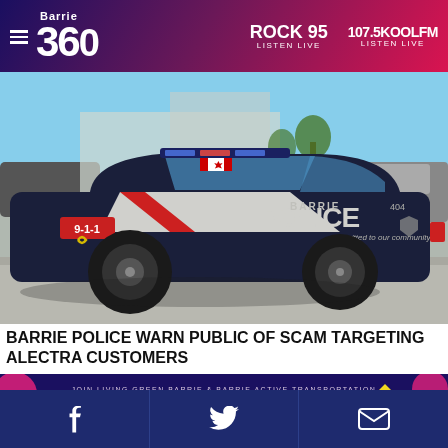Barrie 360 | ROCK 95 LISTEN LIVE | 107.5KOOLFM LISTEN LIVE
[Figure (photo): Barrie Police car (unit 404), a dark navy Dodge Charger with white and red stripe, Canadian flag decal, parked in a lot on a sunny day]
BARRIE POLICE WARN PUBLIC OF SCAM TARGETING ALECTRA CUSTOMERS
[Figure (photo): Colorful promotional banner for 'Bike the...' event, featuring teal cursive text on dark purple background with pink and yellow geometric shapes, text reads JOIN LIVING GREEN BARRIE & BARRIE ACTIVE TRANSPORTATION AND SUSTAINABILITY COMMITTEE IN CELEBRATING THE 1ST]
Facebook | Twitter | Email social share buttons